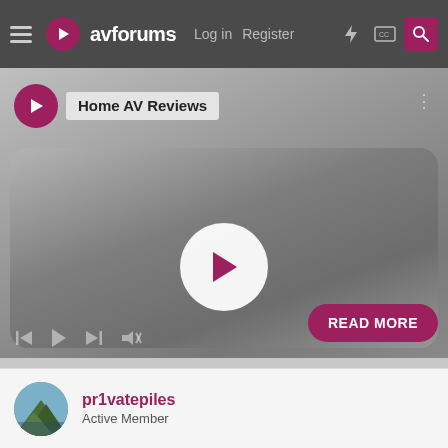avforums — Log in   Register
[Figure (screenshot): Video player showing a gray AV device (soundbar/blu-ray player) with play button overlay, channel badge 'Home AV Reviews', playback controls, and READ MORE button]
pr1vatepiles
Active Member